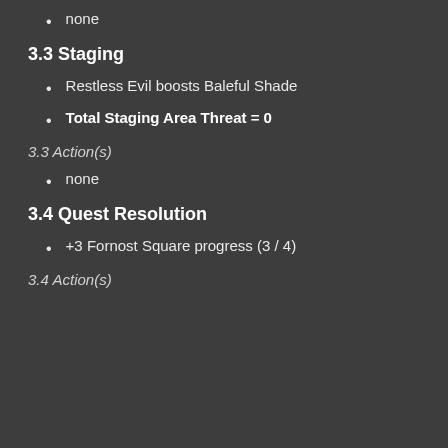none
3.3 Staging
Restless Evil boosts Baleful Shade
Total Staging Area Threat = 0
3.3 Action(s)
none
3.4 Quest Resolution
+3 Fornost Square progress (3 / 4)
3.4 Action(s)